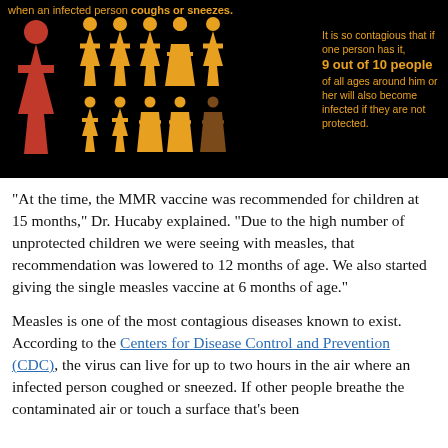[Figure (infographic): Black background infographic showing measles contagion: one red infected person figure on left, surrounded by 9 gold/orange person figures (adults and children), with one brown figure at bottom right representing an infected contact. Text reads: 'when an infected person coughs or sneezes.' and 'It is so contagious that if one person has it, 9 out of 10 people of all ages around him or her will also become infected if they are not protected.']
“At the time, the MMR vaccine was recommended for children at 15 months,” Dr. Hucaby explained. “Due to the high number of unprotected children we were seeing with measles, that recommendation was lowered to 12 months of age. We also started giving the single measles vaccine at 6 months of age.”
Measles is one of the most contagious diseases known to exist. According to the Centers for Disease Control and Prevention (CDC), the virus can live for up to two hours in the air where an infected person coughed or sneezed. If other people breathe the contaminated air or touch a surface that’s been